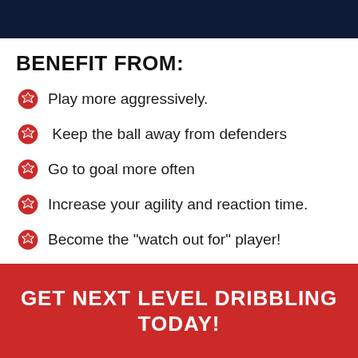BENEFIT FROM:
Play more aggressively.
Keep the ball away from defenders
Go to goal more often
Increase your agility and reaction time.
Become the "watch out for" player!
GET NEXT LEVEL DRIBBLING TODAY!